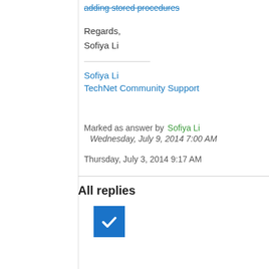adding stored procedures
Regards,
Sofiya Li
Sofiya Li
TechNet Community Support
Marked as answer by  Sofiya Li
Wednesday, July 9, 2014 7:00 AM
Thursday, July 3, 2014 9:17 AM
All replies
[Figure (other): Blue checkbox/checkmark icon]